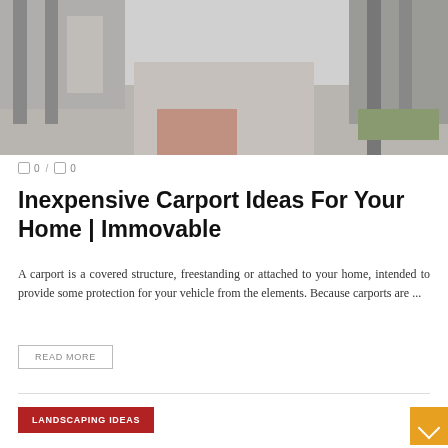[Figure (photo): Exterior photo of a carport/driveway area with metal fence posts, concrete path, brick paving, and greenery on right side. Modern residential building in background.]
□ 0 / □ 0
Inexpensive Carport Ideas For Your Home | Immovable
A carport is a covered structure, freestanding or attached to your home, intended to provide some protection for your vehicle from the elements. Because carports are ...
READ MORE
LANDSCAPING IDEAS